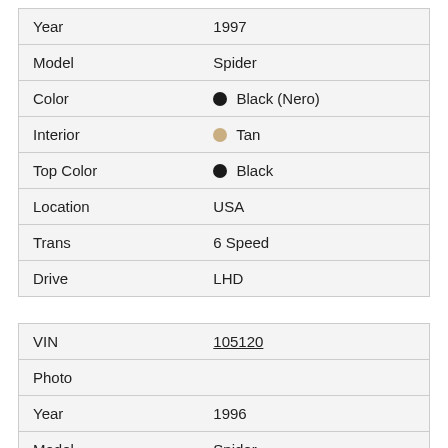| Year | 1997 |
| Model | Spider |
| Color | ● Black (Nero) |
| Interior | ● Tan |
| Top Color | ● Black |
| Location | USA |
| Trans | 6 Speed |
| Drive | LHD |
| VIN | 105120 |
| Photo |  |
| Year | 1996 |
| Model | Spider |
| Color | ● Racing Red (Rosso Corsa) |